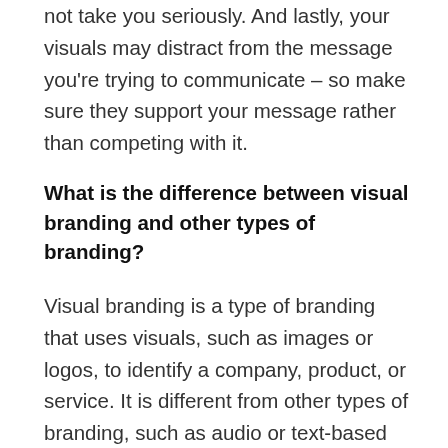not take you seriously. And lastly, your visuals may distract from the message you're trying to communicate – so make sure they support your message rather than competing with it.
What is the difference between visual branding and other types of branding?
Visual branding is a type of branding that uses visuals, such as images or logos, to identify a company, product, or service. It is different from other types of branding, such as audio or text-based branding, which use words to identify a company, product, or